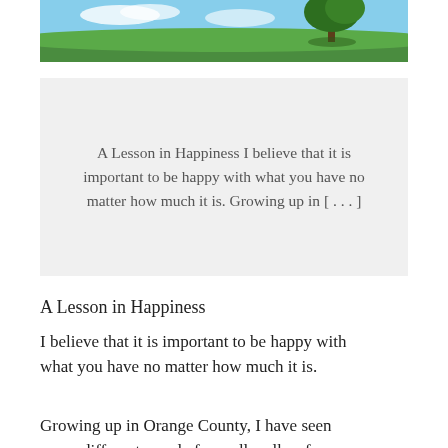[Figure (photo): Landscape photo showing a green field with a tree on the right side against a blue sky with clouds]
A Lesson in Happiness I believe that it is important to be happy with what you have no matter how much it is. Growing up in [...]
A Lesson in Happiness
I believe that it is important to be happy with what you have no matter how much it is.
Growing up in Orange County, I have seen many different people from all walks of life. From those struggling to pay the bills, those living on the streets, and those living lavish lives.
Up until high school I went to a private Christian school all my life. Looking